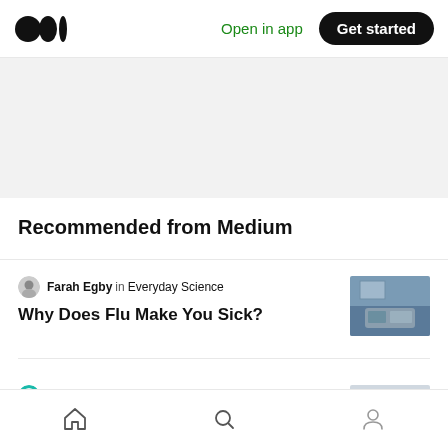Open in app  Get started
Recommended from Medium
Farah Egby in Everyday Science
Why Does Flu Make You Sick?
Mind HK in MindHK
Psychological Wellbeing during Coronavirus Outbreak: How to best take care of ourselves
Home  Search  Profile